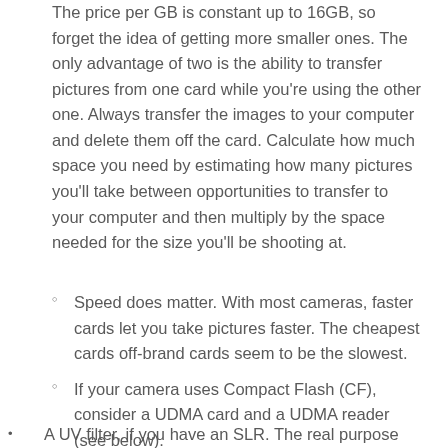The price per GB is constant up to 16GB, so forget the idea of getting more smaller ones. The only advantage of two is the ability to transfer pictures from one card while you're using the other one. Always transfer the images to your computer and delete them off the card. Calculate how much space you need by estimating how many pictures you'll take between opportunities to transfer to your computer and then multiply by the space needed for the size you'll be shooting at.
Speed does matter. With most cameras, faster cards let you take pictures faster. The cheapest cards off-brand cards seem to be the slowest.
If your camera uses Compact Flash (CF), consider a UDMA card and a UDMA reader (see below).
A UV filter, if you have an SLR. The real purpose